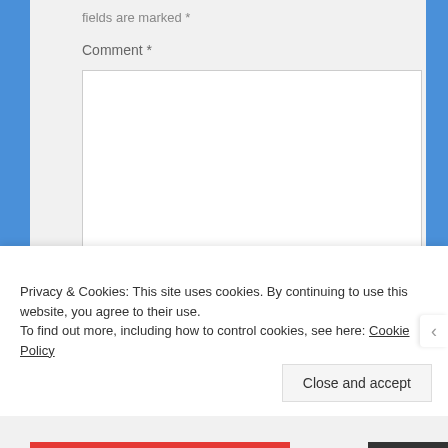fields are marked *
Comment *
[Figure (screenshot): Empty comment textarea input field with resize handle]
Privacy & Cookies: This site uses cookies. By continuing to use this website, you agree to their use.
To find out more, including how to control cookies, see here: Cookie Policy
Close and accept